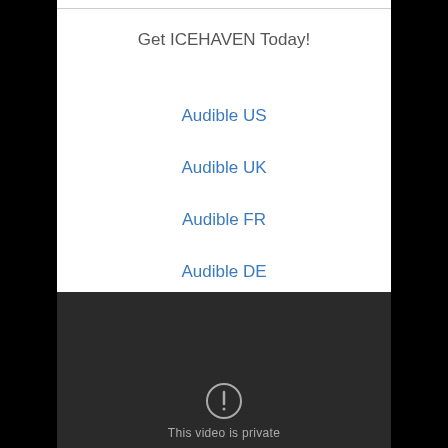Get ICEHAVEN Today!
Audible US
Audible UK
Audible FR
Audible DE
Audible CA
[Figure (screenshot): Dark video player showing 'This video is private' message with a warning icon circle]